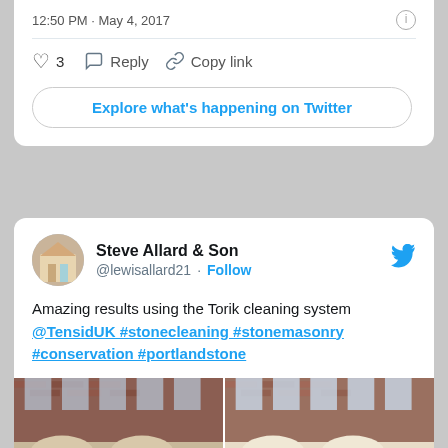12:50 PM · May 4, 2017
3  Reply  Copy link
Explore what's happening on Twitter
Steve Allard & Son @lewisallard21 · Follow
Amazing results using the Torik cleaning system @TensidUK #stonecleaning #stonemasonry #conservation #portlandstone
[Figure (photo): Two side-by-side before/after photos of a stone building facade with Han Bao signage, showing cleaning results]